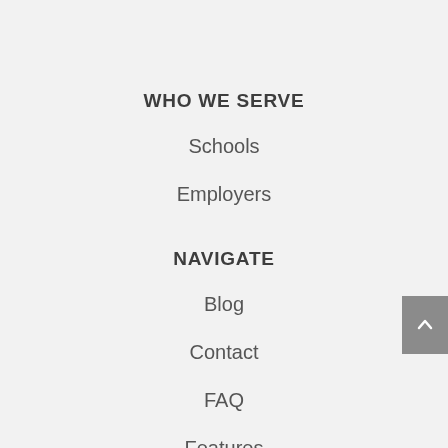WHO WE SERVE
Schools
Employers
NAVIGATE
Blog
Contact
FAQ
Features